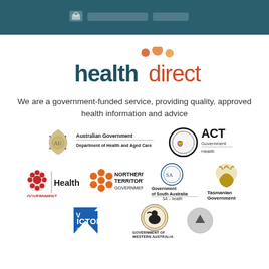healthdirect website header bar
[Figure (logo): healthdirect logo with orange dots above and bold 'health' in dark teal and 'direct' in orange-red text]
We are a government-funded service, providing quality, approved health information and advice
[Figure (logo): Australian Government Department of Health and Aged Care logo]
[Figure (logo): ACT Government Health logo]
[Figure (logo): NSW Government Health logo]
[Figure (logo): Northern Territory Government logo]
[Figure (logo): Government of South Australia SA Health logo]
[Figure (logo): Tasmanian Government logo]
[Figure (logo): Victoria State Government logo]
[Figure (logo): Government of Western Australia logo]
[Figure (other): Scroll-to-top button (grey circle with up arrow)]